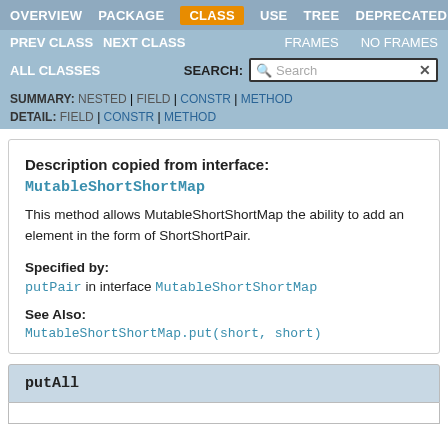OVERVIEW  PACKAGE  CLASS  USE  TREE  DEPRECATED
PREV CLASS  NEXT CLASS  FRAMES  NO FRAMES
ALL CLASSES  SEARCH:  [Search]
SUMMARY: NESTED | FIELD | CONSTR | METHOD  DETAIL: FIELD | CONSTR | METHOD
Description copied from interface: MutableShortShortMap
This method allows MutableShortShortMap the ability to add an element in the form of ShortShortPair.
Specified by:
putPair in interface MutableShortShortMap
See Also:
MutableShortShortMap.put(short, short)
putAll